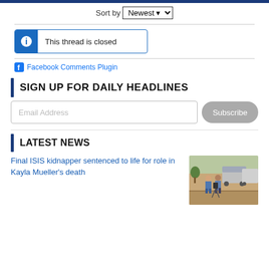Sort by Newest
This thread is closed
Facebook Comments Plugin
SIGN UP FOR DAILY HEADLINES
Email Address
Subscribe
LATEST NEWS
Final ISIS kidnapper sentenced to life for role in Kayla Mueller's death
[Figure (photo): Two people standing on a brick sidewalk near parked vans on a street, outdoor scene]